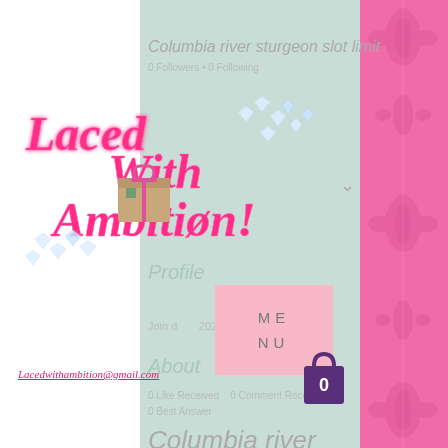Columbia river sturgeon slot limit
0 Followers • 0 Following
[Figure (logo): Laced With Ambition cursive pink neon logo with diamond gems and gift box]
Profile
ME
NU
Join date: 2022
About
Lacedwithambition@gmail.com
[Figure (other): Shopping bag icon with 0]
0 Like Received   0 Comment Received
0 Best Answer
Columbia river sturgeon slot limit